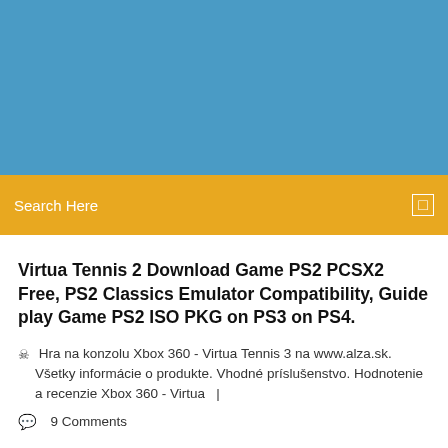[Figure (other): Blue header banner background]
Search Here
Virtua Tennis 2 Download Game PS2 PCSX2 Free, PS2 Classics Emulator Compatibility, Guide play Game PS2 ISO PKG on PS3 on PS4.
Hra na konzolu Xbox 360 - Virtua Tennis 3 na www.alza.sk. Všetky informácie o produkte. Vhodné príslušenstvo. Hodnotenie a recenzie Xbox 360 - Virtua  |
9 Comments